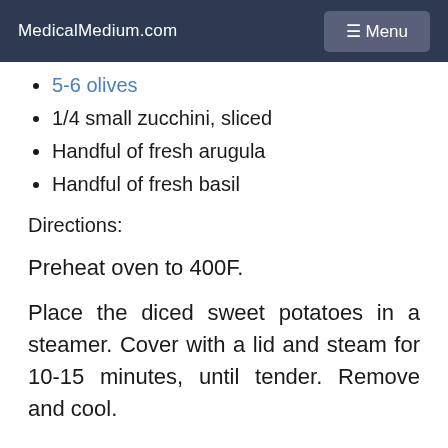MedicalMedium.com   ☰ Menu
5-6 olives
1/4 small zucchini, sliced
Handful of fresh arugula
Handful of fresh basil
Directions:
Preheat oven to 400F.
Place the diced sweet potatoes in a steamer. Cover with a lid and steam for 10-15 minutes, until tender. Remove and cool.